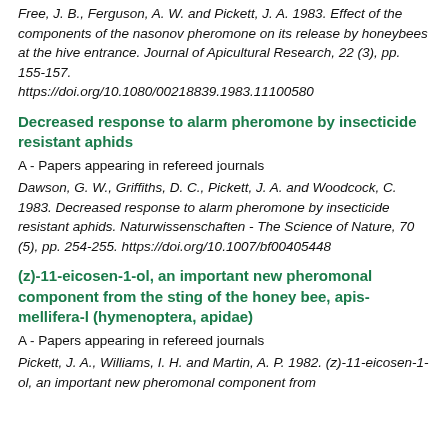Free, J. B., Ferguson, A. W. and Pickett, J. A. 1983. Effect of the components of the nasonov pheromone on its release by honeybees at the hive entrance. Journal of Apicultural Research, 22 (3), pp. 155-157. https://doi.org/10.1080/00218839.1983.11100580
Decreased response to alarm pheromone by insecticide resistant aphids
A - Papers appearing in refereed journals
Dawson, G. W., Griffiths, D. C., Pickett, J. A. and Woodcock, C. 1983. Decreased response to alarm pheromone by insecticide resistant aphids. Naturwissenschaften - The Science of Nature, 70 (5), pp. 254-255. https://doi.org/10.1007/bf00405448
(z)-11-eicosen-1-ol, an important new pheromonal component from the sting of the honey bee, apis-mellifera-l (hymenoptera, apidae)
A - Papers appearing in refereed journals
Pickett, J. A., Williams, I. H. and Martin, A. P. 1982. (z)-11-eicosen-1-ol, an important new pheromonal component from